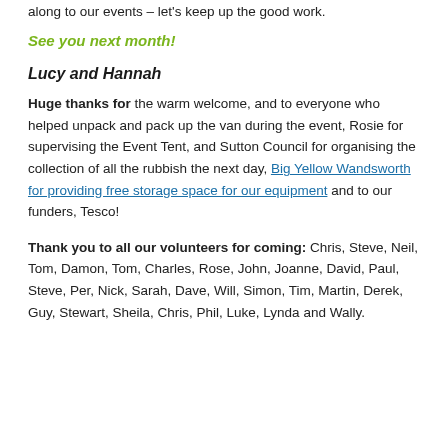along to our events – let's keep up the good work.
See you next month!
Lucy and Hannah
Huge thanks for the warm welcome, and to everyone who helped unpack and pack up the van during the event, Rosie for supervising the Event Tent, and Sutton Council for organising the collection of all the rubbish the next day, Big Yellow Wandsworth for providing free storage space for our equipment and to our funders, Tesco!
Thank you to all our volunteers for coming: Chris, Steve, Neil, Tom, Damon, Tom, Charles, Rose, John, Joanne, David, Paul, Steve, Per, Nick, Sarah, Dave, Will, Simon, Tim, Martin, Derek, Guy, Stewart, Sheila, Chris, Phil, Luke, Lynda and Wally.